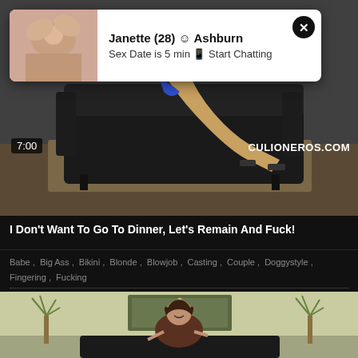[Figure (screenshot): Video thumbnail showing woman on dark leather sofa in blue dress with watermark CULIONEROS.COM and duration 7:00]
Janette (28) ☺ Ashburn
Sex Date is 5 min 📱 Start Chatting
I Don't Want To Go To Dinner, Let's Remain And Fuck!
Babe , Big Ass , Bikini , Blonde , Blowjob , Casting , Couple , Doggystyle , Fingering , Fucking
[Figure (screenshot): Second video thumbnail showing woman in black lingerie in a light-colored room with decorative plants]